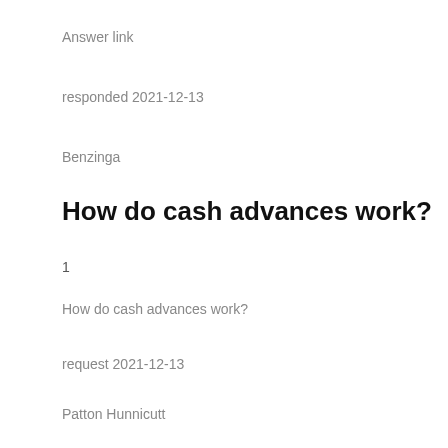Answer link
responded 2021-12-13
Benzinga
How do cash advances work?
1
How do cash advances work?
request 2021-12-13
Patton Hunnicutt
1